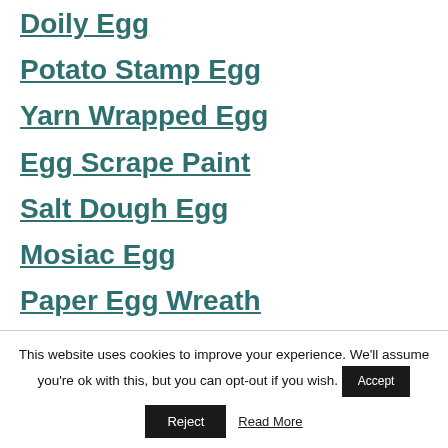Doily Egg
Potato Stamp Egg
Yarn Wrapped Egg
Egg Scrape Paint
Salt Dough Egg
Mosiac Egg
Paper Egg Wreath
This website uses cookies to improve your experience. We'll assume you're ok with this, but you can opt-out if you wish.
Accept
Reject
Read More